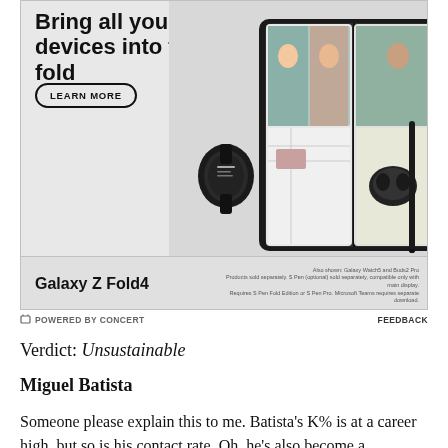[Figure (illustration): Samsung Galaxy Z Fold4 advertisement showing the phone unfolded with a video call on screen, alongside a Galaxy Watch5 smartwatch, Galaxy Buds2 Pro earbuds case, and an S Pen stylus. Headline reads 'Bring all your devices into the fold' with a 'LEARN MORE' button. Bottom bar shows 'Galaxy Z Fold4' branding and small disclaimer text about accessories sold separately.]
⊟ POWERED BY CONCERT   FEEDBACK
Verdict: Unsustainable
Miguel Batista
Someone please explain this to me. Batista's K% is at a career high, but so is his contact rate. Oh, he's also become a completely different pitcher in terms of walks